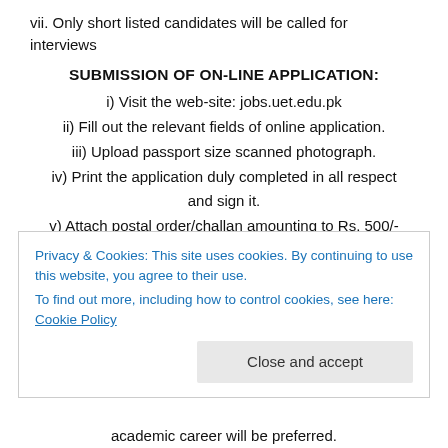vii. Only short listed candidates will be called for interviews
SUBMISSION OF ON-LINE APPLICATION:
i) Visit the web-site: jobs.uet.edu.pk
ii) Fill out the relevant fields of online application.
iii) Upload passport size scanned photograph.
iv) Print the application duly completed in all respect and sign it.
v) Attach postal order/challan amounting to Rs. 500/- in favour of Treasurer of UET, Lahore and other required documents with the printout of application.
Privacy & Cookies: This site uses cookies. By continuing to use this website, you agree to their use.
To find out more, including how to control cookies, see here: Cookie Policy
academic career will be preferred.